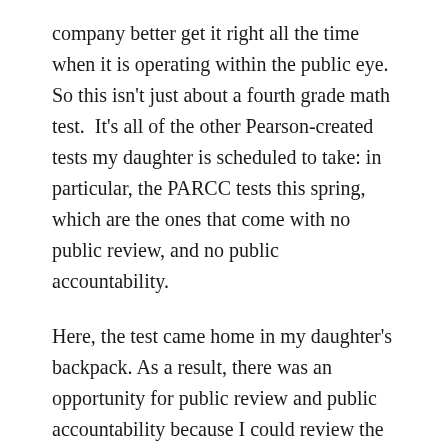company better get it right all the time when it is operating within the public eye.  So this isn't just about a fourth grade math test.  It's all of the other Pearson-created tests my daughter is scheduled to take: in particular, the PARCC tests this spring, which are the ones that come with no public review, and no public accountability.
Here, the test came home in my daughter's backpack. As a result, there was an opportunity for public review and public accountability because I could review the test and question the wrong answer. The teacher could check the question and realize that the book was wrong, and substitute her own professional judgment for that of the textbook publisher.